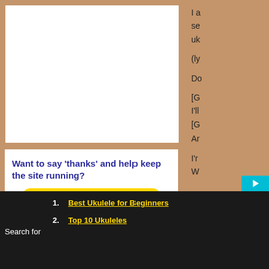[Figure (other): White advertisement box placeholder]
Want to say 'thanks' and help keep the site running?
[Figure (other): Buy me a beer yellow button with coffee cup icon]
Got A Ukulele is NOT paid by brands or shops - reviews would not be impartial that way!
I a se uk (ly Do [G I'll [G Ar I'r W
1. Best Ukulele for Beginners
2. Top 10 Ukuleles
Search for